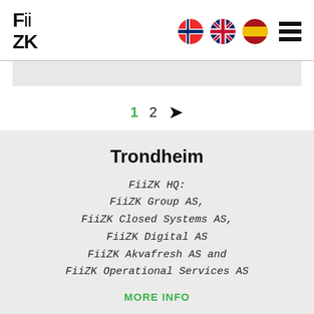FiiZK
[Figure (illustration): Navigation icons: Norwegian flag, UK flag, Spanish flag, and hamburger menu icon]
[Figure (screenshot): Gray banner strip below header divider]
1  2  >
Trondheim
FiiZK HQ:
FiiZK Group AS,
FiiZK Closed Systems AS,
FiiZK Digital AS
FiiZK Akvafresh AS and
FiiZK Operational Services AS
MORE INFO